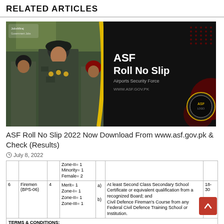RELATED ARTICLES
[Figure (photo): ASF Roll No Slip promotional image showing military/security personnel in camouflage uniform in left half, and dark background with text 'ASF Roll No Slip, Airports Security Force, www.asf.gov.pk' in right half, with yellow wave divider and ASF logo at bottom right.]
ASF Roll No Slip 2022 Now Download From www.asf.gov.pk & Check (Results)
July 8, 2022
|  |  |  | Zone-II= 1
Minority= 1
Female= 2 |  |  |  |
| 6 | Firemen (BPS-06) | 4 | Merit= 1
Zone-I= 1
Zone-II= 1
Zone-III= 1 | a)
b) | At least Second Class Secondary School Certificate or equivalent qualification from a recognized Board; and
Civil Defence Fireman's Course from any Federal Civil Defence Training School or Institution. | 18-30 |
TERMS & CONDITIONS: